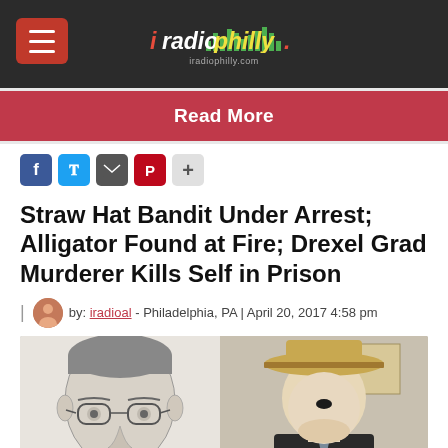iRadioPhilly - iradiophilly.com
Read More
Straw Hat Bandit Under Arrest; Alligator Found at Fire; Drexel Grad Murderer Kills Self in Prison
by: iradioal - Philadelphia, PA | April 20, 2017 4:58 pm
[Figure (photo): Two-panel image: left panel is a pencil sketch composite drawing of a man with glasses and short hair; right panel is a surveillance photo of a person wearing a wide-brimmed straw hat and a face mask with a suit and tie.]